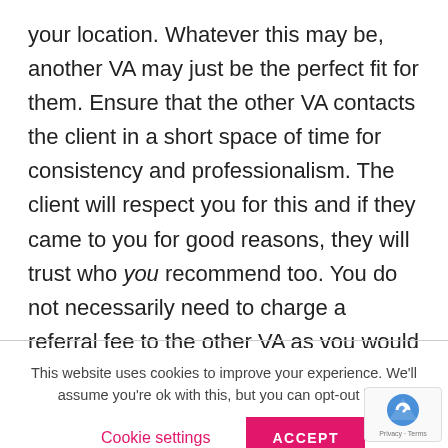your location. Whatever this may be, another VA may just be the perfect fit for them. Ensure that the other VA contacts the client in a short space of time for consistency and professionalism. The client will respect you for this and if they came to you for good reasons, they will trust who you recommend too. You do not necessarily need to charge a referral fee to the other VA as you would hope that they would reciprocate if the same opportunity arose to
This website uses cookies to improve your experience. We'll assume you're ok with this, but you can opt-out if yo...